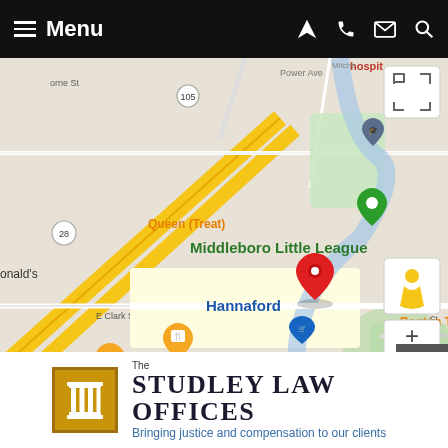Menu
[Figure (map): Google Maps view of Middleboro, MA area showing Middleboro Little League, Hannaford, Boston Tavern, Middleborough High School, E Clark St, E Grove St, and highway 495. A red pin marks the law office location. Green and orange pins mark nearby points of interest. Map data ©2022.]
[Figure (logo): The Studley Law Offices logo with gold column icon and text 'The STUDLEY LAW OFFICES - Bringing justice and compensation to our clients']